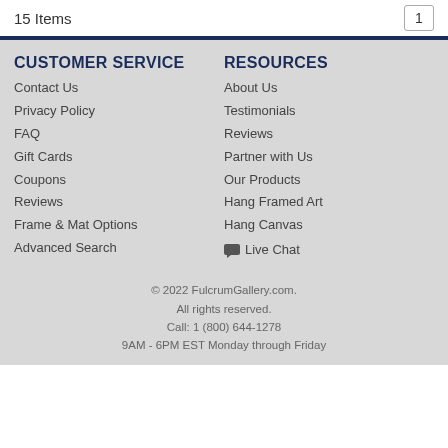15 Items
CUSTOMER SERVICE
Contact Us
Privacy Policy
FAQ
Gift Cards
Coupons
Reviews
Frame & Mat Options
Advanced Search
RESOURCES
About Us
Testimonials
Reviews
Partner with Us
Our Products
Hang Framed Art
Hang Canvas
Live Chat
© 2022 FulcrumGallery.com. All rights reserved. Call: 1 (800) 644-1278 9AM - 6PM EST Monday through Friday